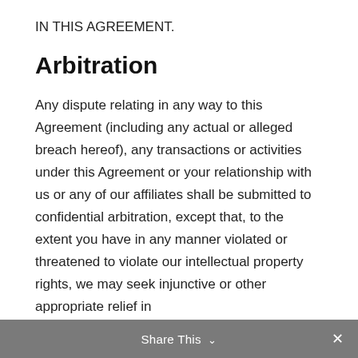IN THIS AGREEMENT.
Arbitration
Any dispute relating in any way to this Agreement (including any actual or alleged breach hereof), any transactions or activities under this Agreement or your relationship with us or any of our affiliates shall be submitted to confidential arbitration, except that, to the extent you have in any manner violated or threatened to violate our intellectual property rights, we may seek injunctive or other appropriate relief in
Share This ∨  ×